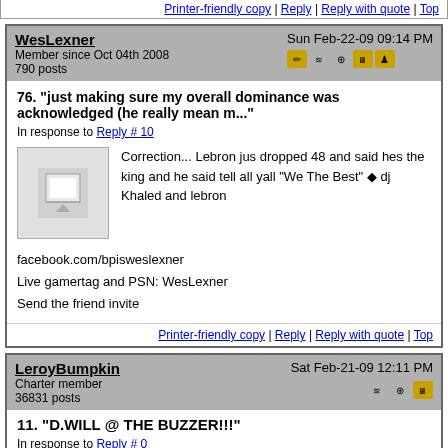Printer-friendly copy | Reply | Reply with quote | Top
WesLexner
Member since Oct 04th 2008
790 posts
Sun Feb-22-09 09:14 PM
76. "just making sure my overall dominance was acknowledged (he really mean m..."
In response to Reply # 10
Correction... Lebron jus dropped 48 and said hes the king and he said tell all yall "We The Best" dj Khaled and lebron

facebook.com/bpisweslexner
Live gamertag and PSN: WesLexner
Send the friend invite
Printer-friendly copy | Reply | Reply with quote | Top
LeroyBumpkin
Charter member
36831 posts
Sat Feb-21-09 12:11 PM
11. "D.WILL @ THE BUZZER!!!"
In response to Reply # 0
[Figure (illustration): Advertisement banner with Chicago Bulls logo, FAIL text, blonde woman, flames, and BitLok Start a New Life branding]